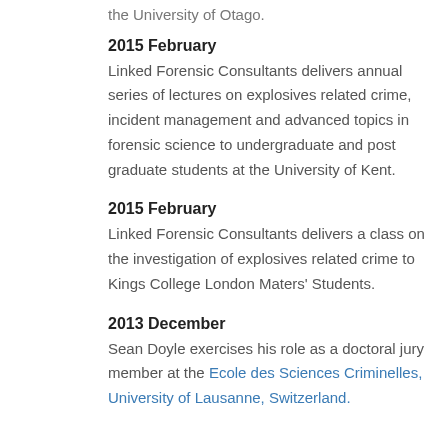the University of Otago.
2015 February
Linked Forensic Consultants delivers annual series of lectures on explosives related crime, incident management and advanced topics in forensic science to undergraduate and post graduate students at the University of Kent.
2015 February
Linked Forensic Consultants delivers a class on the investigation of explosives related crime to Kings College London Maters' Students.
2013 December
Sean Doyle exercises his role as a doctoral jury member at the Ecole des Sciences Criminelles, University of Lausanne, Switzerland.